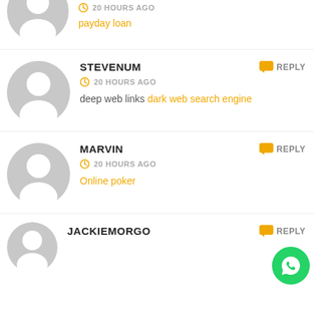[Figure (illustration): User avatar placeholder (gray silhouette), partial top comment]
20 HOURS AGO
payday loan
[Figure (illustration): User avatar placeholder (gray silhouette) for STEVENUM]
STEVENUM
REPLY
20 HOURS AGO
deep web links dark web search engine
[Figure (illustration): User avatar placeholder (gray silhouette) for MARVIN]
MARVIN
REPLY
20 HOURS AGO
Online poker
[Figure (logo): WhatsApp green circle button with phone icon]
[Figure (illustration): User avatar placeholder (gray silhouette) for JACKIEMORGO, partial bottom]
JACKIEMORGO
REPLY